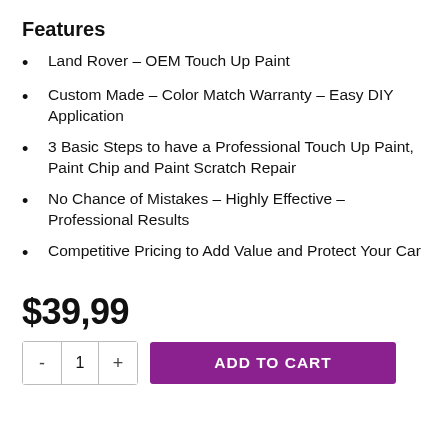Features
Land Rover – OEM Touch Up Paint
Custom Made – Color Match Warranty – Easy DIY Application
3 Basic Steps to have a Professional Touch Up Paint, Paint Chip and Paint Scratch Repair
No Chance of Mistakes – Highly Effective – Professional Results
Competitive Pricing to Add Value and Protect Your Car
$39,99
- 1 + ADD TO CART